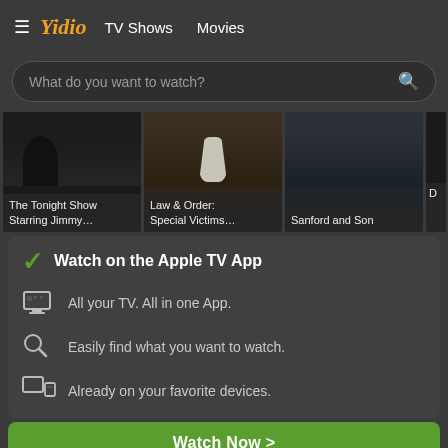≡ Yidio  TV Shows  Movies
What do you want to watch?
[Figure (screenshot): Three TV show thumbnail cards: The Tonight Show Starring Jimmy..., Law & Order: Special Victims..., Sanford and Son, and a partial fourth card]
✓ Watch on the Apple TV App
All your TV. All in one App.
Easily find what you want to watch.
Already on your favorite devices.
Watch Now >